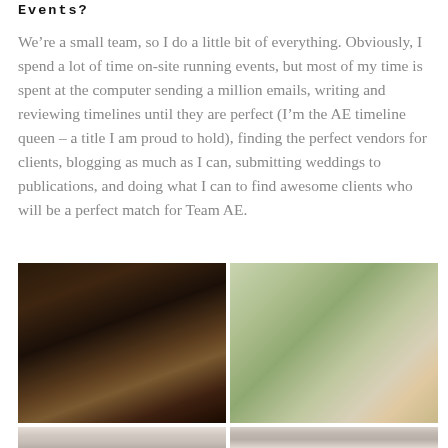Events?
We’re a small team, so I do a little bit of everything. Obviously, I spend a lot of time on-site running events, but most of my time is spent at the computer sending a million emails, writing and reviewing timelines until they are perfect (I’m the AE timeline queen – a title I am proud to hold), finding the perfect vendors for clients, blogging as much as I can, submitting weddings to publications, and doing what I can to find awesome clients who will be a perfect match for Team AE.
[Figure (photo): Two photos side by side: left photo shows people socializing at an event in a dimly lit venue with purple lighting; right photo shows a woman with sunglasses looking at photographs/cards outdoors]
[Figure (photo): Two partial photos side by side at bottom: left shows interior of a room, right shows interior with ceiling light fixture]